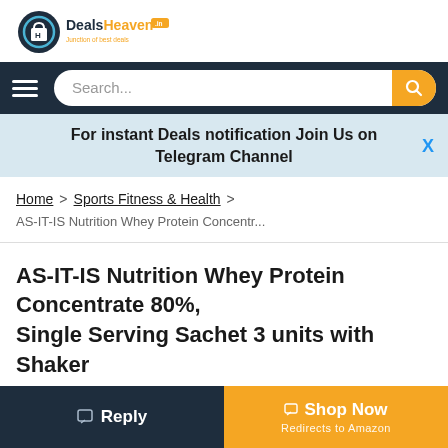[Figure (logo): DealsHeaven.in logo with shopping bag icon and tagline 'Junction of best deals']
[Figure (screenshot): Navigation bar with hamburger menu and search box on dark background]
For instant Deals notification Join Us on Telegram Channel
Home > Sports Fitness & Health > AS-IT-IS Nutrition Whey Protein Concentr...
AS-IT-IS Nutrition Whey Protein Concentrate 80%, Single Serving Sachet 3 units with Shaker
[Figure (screenshot): Bottom bar with Reply button (dark) and Shop Now / Redirects to Amazon button (orange)]